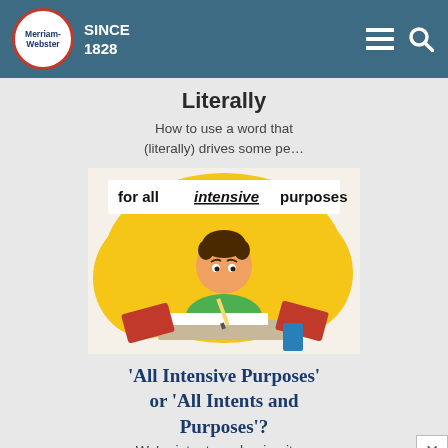Merriam-Webster SINCE 1828
Literally
How to use a word that (literally) drives some pe…
[Figure (illustration): Cartoon illustration of a student studying with books, text reads 'for all intensive purposes']
'All Intensive Purposes' or 'All Intents and Purposes'?
We're intent on clearing it up